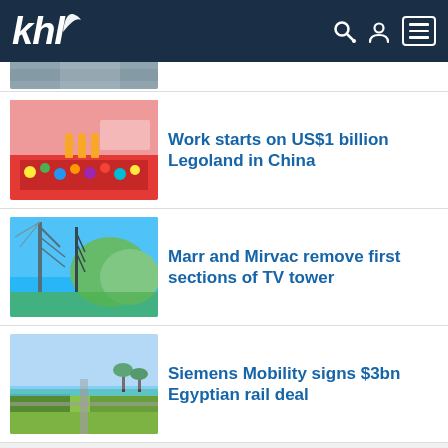khl
[Figure (photo): Partial image of construction/road scene at top]
Work starts on US$1 billion Legoland in China
Marr and Mirvac remove first sections of TV tower
Siemens Mobility signs $3bn Egyptian rail deal
Advertisement
CONSTRUCTION